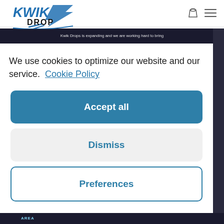[Figure (logo): KwikDrop logo with arrow and speed lines in blue, 'KWIK' in blue italic bold, 'DROP' in black bold]
Kwik Drops is expanding and we are working hard to bring
We use cookies to optimize our website and our service.  Cookie Policy
Accept all
Dismiss
Preferences
AREA